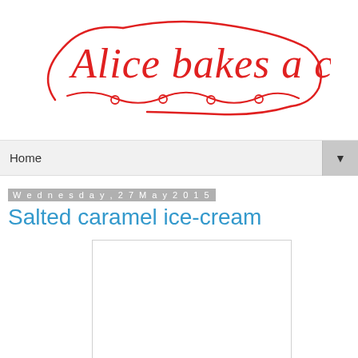[Figure (logo): Alice bakes a cake - red cursive handwritten logo with decorative underline]
Home
Wednesday, 27 May 2015
Salted caramel ice-cream
[Figure (photo): Blank white image placeholder with border, representing an image of salted caramel ice-cream]